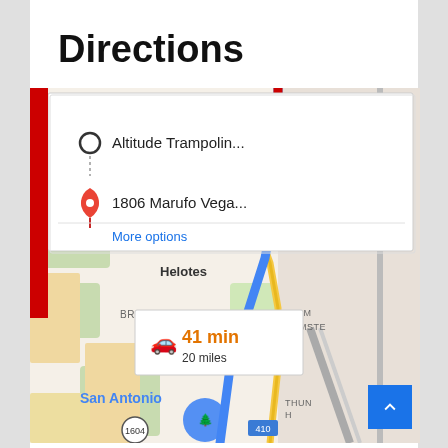Directions
[Figure (map): Google Maps directions screenshot showing route from Altitude Trampoline to 1806 Marufo Vega, passing through Helotes and San Antonio area. A blue route line runs south through the map. Duration badge shows 41 min and 20 miles.]